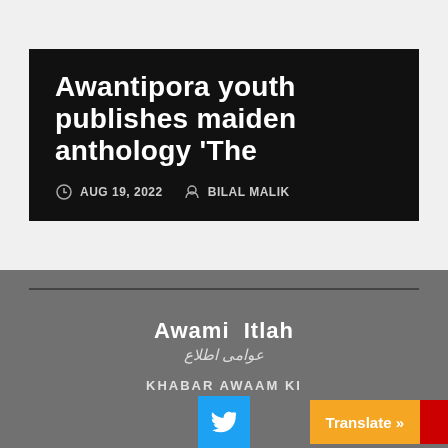Awantipora youth publishes maiden anthology 'The
AUG 19, 2022   BILAL MALIK
[Figure (logo): Awami Itlah logo with English text 'Awami Itlah' and Urdu script below]
KHABAR AWAAM KI
[Figure (other): Twitter bird icon button (blue), Translate button (orange), red tab at right edge]